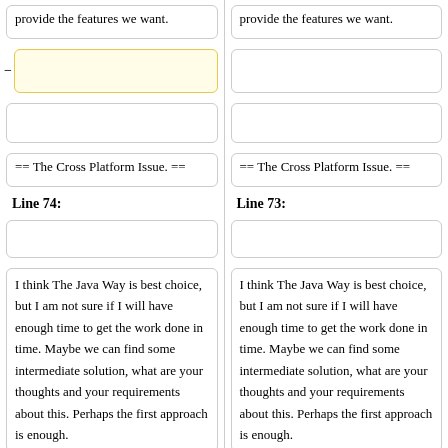provide the features we want.
provide the features we want.
== The Cross Platform Issue. ==
== The Cross Platform Issue. ==
Line 74:
Line 73:
I think The Java Way is best choice, but I am not sure if I will have enough time to get the work done in time. Maybe we can find some intermediate solution, what are your thoughts and your requirements about this. Perhaps the first approach is enough.
I think The Java Way is best choice, but I am not sure if I will have enough time to get the work done in time. Maybe we can find some intermediate solution, what are your thoughts and your requirements about this. Perhaps the first approach is enough.